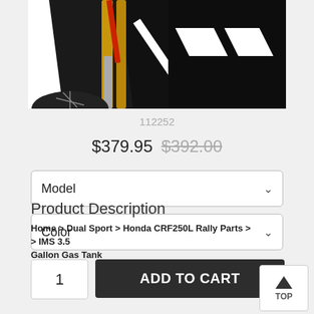[Figure (photo): Close-up photo of a motorcycle front fork and fairing with red, white and black colors, gold fork tubes visible]
112252
$379.95 $392.00
Model
Color
1
ADD TO CART
Product Description
Home > Dual Sport > Honda CRF250L Rally Parts > > IMS 3.5 Gallon Gas Tank
TOP